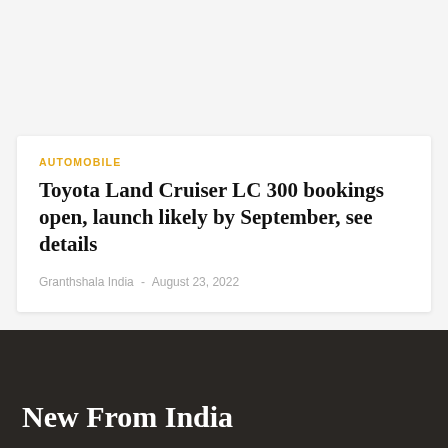AUTOMOBILE
Toyota Land Cruiser LC 300 bookings open, launch likely by September, see details
Granthshala India  -  August 23, 2022
New From India